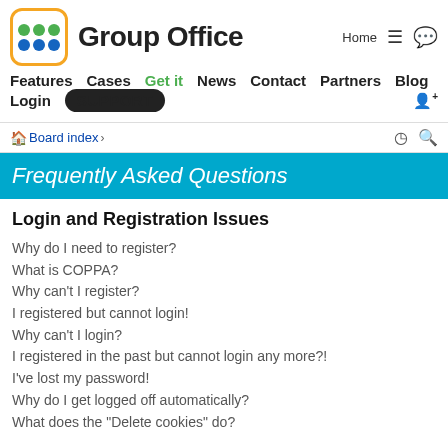[Figure (logo): Group Office logo with orange-bordered icon containing colored dots and brand name text]
Features  Cases  Get it  News  Contact  Partners  Blog  Login  SUPPORT  Home
Board index ›
Frequently Asked Questions
Login and Registration Issues
Why do I need to register?
What is COPPA?
Why can't I register?
I registered but cannot login!
Why can't I login?
I registered in the past but cannot login any more?!
I've lost my password!
Why do I get logged off automatically?
What does the "Delete cookies" do?
User Preferences and settings